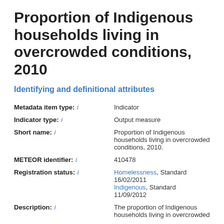Proportion of Indigenous households living in overcrowded conditions, 2010
Identifying and definitional attributes
| Field | Value |
| --- | --- |
| Metadata item type: | Indicator |
| Indicator type: | Output measure |
| Short name: | Proportion of Indigenous households living in overcrowded conditions, 2010. |
| METEOR identifier: | 410478 |
| Registration status: | Homelessness, Standard 16/02/2011
Indigenous, Standard 11/09/2012 |
| Description: | The proportion of Indigenous households living in overcrowded |